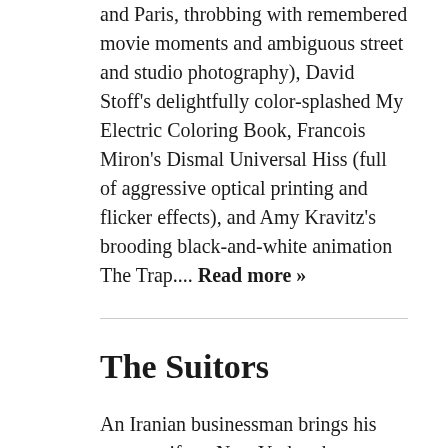and Paris, throbbing with remembered movie moments and ambiguous street and studio photography), David Stoff's delightfully color-splashed My Electric Coloring Book, Francois Miron's Dismal Universal Hiss (full of aggressive optical printing and flicker effects), and Amy Kravitz's brooding black-and-white animation The Trap.... Read more »
The Suitors
An Iranian businessman brings his young wife to New York, where a misunderstanding quickly leaves her a widow and the object of the attentions of some of her husband's friends. Writer-director Ghasem Ebrahimian's location shooting in 16-millimeter employs a strikingly vivid use of color, but his talents as a storyteller are unevenshots are